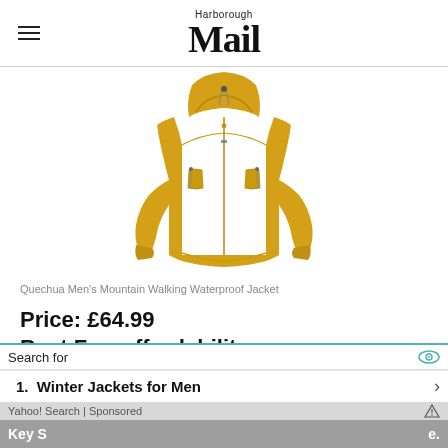Harborough Mail
[Figure (photo): Yellow Quechua Men's Mountain Walking Waterproof Jacket with hood on white background]
Quechua Men's Mountain Walking Waterproof Jacket
Price: £64.99
Best For: affordability
[Figure (other): 3 filled red star rating icons and 2 empty star icons showing 3/5 rating]
3/5
Search for
1. Winter Jackets for Men
Yahoo! Search | Sponsored
Key S... e.